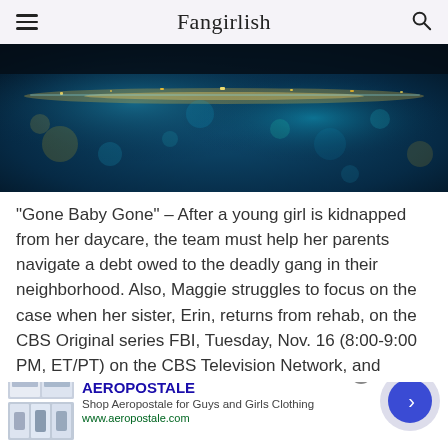Fangirlish
[Figure (photo): Dark blurry bokeh photo with teal/blue and gold tones, appears to be a nighttime cityscape or waterfront scene]
“Gone Baby Gone” – After a young girl is kidnapped from her daycare, the team must help her parents navigate a debt owed to the deadly gang in their neighborhood. Also, Maggie struggles to focus on the case when her sister, Erin, returns from rehab, on the CBS Original series FBI, Tuesday, Nov. 16 (8:00-9:00 PM, ET/PT) on the CBS Television Network, and
[Figure (screenshot): Advertisement overlay: infolinks label, Aeropostale ad with clothing images, brand name, tagline 'Shop Aeropostale for Guys and Girls Clothing', URL www.aeropostale.com, close button, and circular play/arrow button]